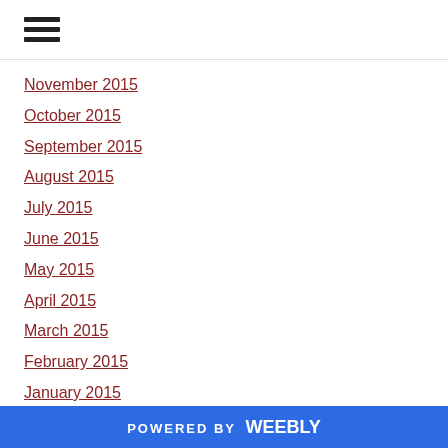≡
November 2015
October 2015
September 2015
August 2015
July 2015
June 2015
May 2015
April 2015
March 2015
February 2015
January 2015
December 2014
November 2014
October 2014
POWERED BY weebly